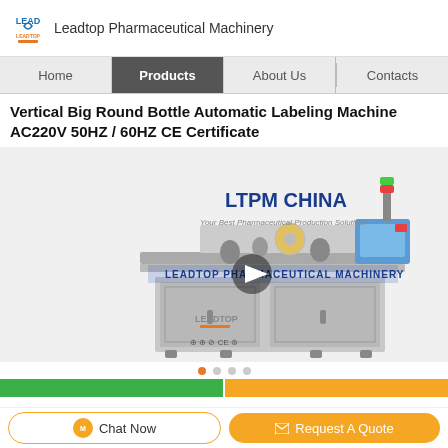Leadtop Pharmaceutical Machinery
Home | Products | About Us | Contacts
Vertical Big Round Bottle Automatic Labeling Machine AC220V 50HZ / 60HZ CE Certificate
[Figure (photo): Vertical Big Round Bottle Automatic Labeling Machine by LTPM CHINA / Leadtop Pharmaceutical Machinery, showing a stainless steel conveyor-based labeling machine with control panel and signal tower. Overlay text: LTPM CHINA, Your Best Pharmaceutical Production Solution!, LEADTOP PHARMACEUTICAL MACHINERY. Play button overlay in center. Leadtop logo and CE certification marks at bottom left.]
Chat Now | Request A Quote